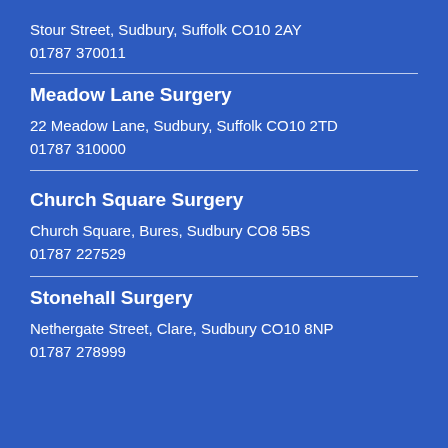Stour Street, Sudbury, Suffolk CO10 2AY
01787 370011
Meadow Lane Surgery
22 Meadow Lane, Sudbury, Suffolk CO10 2TD
01787 310000
Church Square Surgery
Church Square, Bures, Sudbury CO8 5BS
01787 227529
Stonehall Surgery
Nethergate Street, Clare, Sudbury CO10 8NP
01787 278999